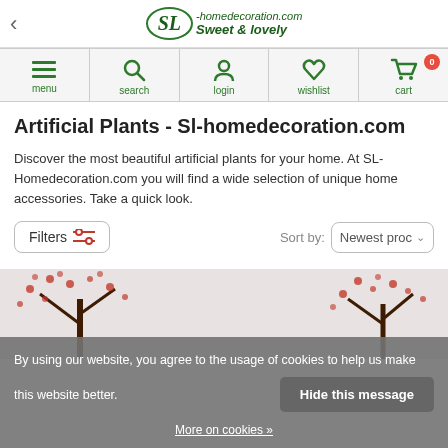[Figure (screenshot): SL-homedecoration.com website header with logo showing 'SL-homedecoration.com Sweet & lovely' in green italic text with oval border]
[Figure (screenshot): Navigation bar with five icons: menu (hamburger), search (magnifier), login (person), wishlist (heart), cart (shopping cart with badge 0)]
Artificial Plants - Sl-homedecoration.com
Discover the most beautiful artificial plants for your home. At SL-Homedecoration.com you will find a wide selection of unique home accessories. Take a quick look.
Filters | Sort by: Newest proc
By using our website, you agree to the usage of cookies to help us make this website better.
Hide this message
More on cookies »